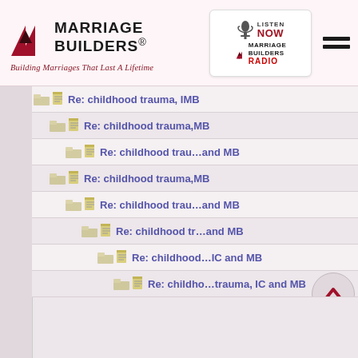[Figure (logo): Marriage Builders logo with triangles and tagline: Building Marriages That Last A Lifetime]
[Figure (logo): Listen Now Marriage Builders Radio badge]
Re: childhood trauma, IC and MB
Re: childhood trauma, IC and MB
Re: childhood trau... and MB
Re: childhood trauma, IC and MB
Re: childhood trau... and MB
Re: childhood tr... and MB
Re: childhood... IC and MB
Re: childho... trauma, IC and MB